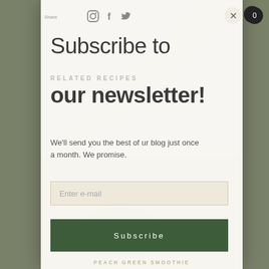[Figure (screenshot): Newsletter subscription modal popup overlaid on a food/recipe website. Dark gray background with food imagery visible. White/off-white modal panel on right side with social media icons, close button, subscribe form with email input and subscribe button.]
Subscribe to our newsletter!
RELATED RECIPES
We'll send you the best of ur blog just once a month. We promise.
Enter e-mail
Subscribe
PEACH GREEN SMOOTHIE